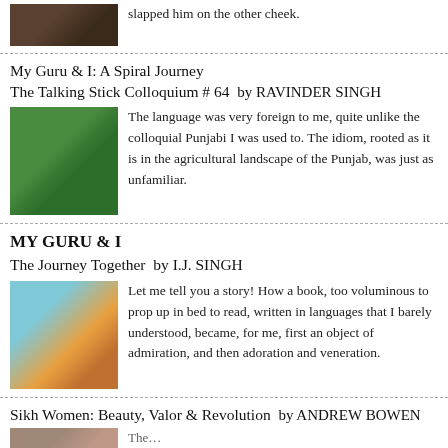[Figure (photo): Partial top photo, dark tones, nature/animal]
slapped him on the other cheek.
My Guru & I: A Spiral Journey
The Talking Stick Colloquium # 64  by RAVINDER SINGH
[Figure (photo): A snail on a spiral shell with green background]
The language was very foreign to me, quite unlike the colloquial Punjabi I was used to. The idiom, rooted as it is in the agricultural landscape of the Punjab, was just as unfamiliar.
MY GURU & I
The Journey Together  by I.J. SINGH
[Figure (photo): Colorful illustration of a figure with orange hat and flowing garments]
Let me tell you a story! How a book, too voluminous to prop up in bed to read, written in languages that I barely understood, became, for me, first an object of admiration, and then adoration and veneration.
Sikh Women: Beauty, Valor & Revolution  by ANDREW BOWEN
[Figure (photo): Partial bottom photo, portrait tones]